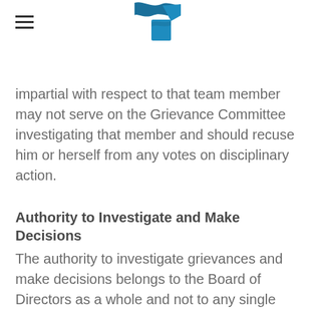[Logo]
impartial with respect to that team member may not serve on the Grievance Committee investigating that member and should recuse him or herself from any votes on disciplinary action.
Authority to Investigate and Make Decisions
The authority to investigate grievances and make decisions belongs to the Board of Directors as a whole and not to any single board member or representative of the board, though the Board may delegate responsibility for making investigations to individual Board members.
Appeal
A Team member who wishes to appeal a decision